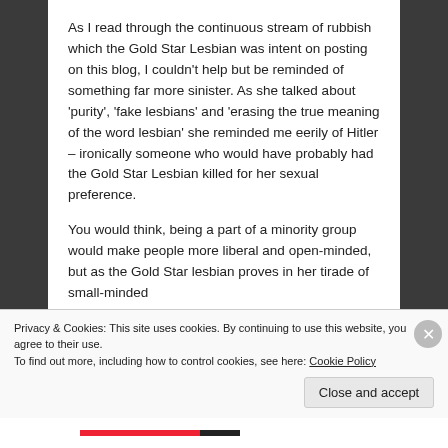As I read through the continuous stream of rubbish which the Gold Star Lesbian was intent on posting on this blog, I couldn't help but be reminded of something far more sinister.  As she talked about 'purity', 'fake lesbians' and 'erasing the true meaning of the word lesbian' she reminded me eerily of Hitler – ironically someone who would have probably had the Gold Star Lesbian killed for her sexual preference.
You would think, being a part of a minority group would make people more liberal and open-minded, but as the Gold Star lesbian proves in her tirade of small-minded
Privacy & Cookies: This site uses cookies. By continuing to use this website, you agree to their use.
To find out more, including how to control cookies, see here: Cookie Policy
Close and accept